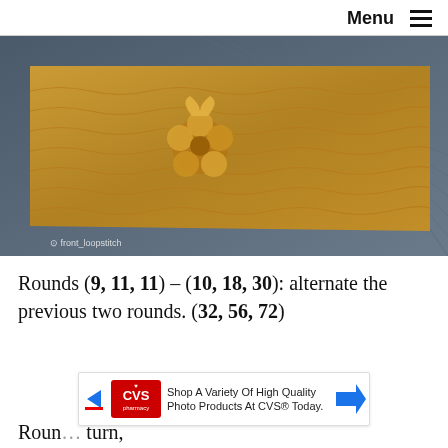Menu ≡
[Figure (photo): Close-up photo of golden yellow crocheted item with floral motif on a blue textured background. Watermark reads 'front_loopstitch'.]
Rounds (9, 11, 11) – (10, 18, 30): alternate the previous two rounds. (32, 56, 72)
[Figure (other): Advertisement banner: Shop A Variety Of High Quality Photo Products At CVS® Today.]
Roun… turn,